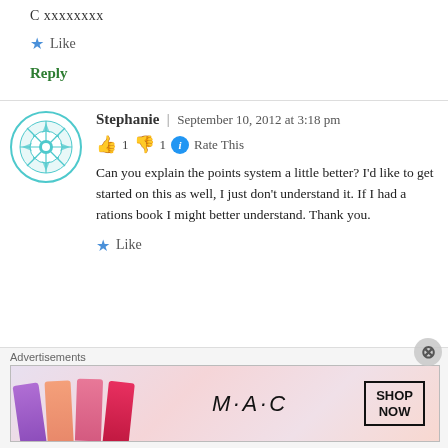C xxxxxxxx
★ Like
Reply
[Figure (illustration): Teal snowflake/geometric pattern avatar circle for user Stephanie]
Stephanie | September 10, 2012 at 3:18 pm
👍 1 👎 1 ℹ Rate This
Can you explain the points system a little better? I'd like to get started on this as well, I just don't understand it. If I had a rations book I might better understand. Thank you.
★ Like
Advertisements
[Figure (illustration): MAC cosmetics advertisement banner with lipsticks and SHOP NOW box]